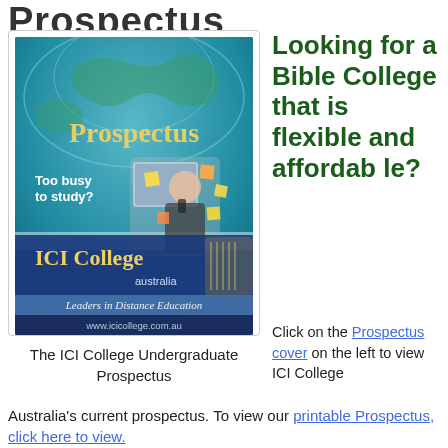Prospectus
[Figure (illustration): Cover image of the ICI College Undergraduate Prospectus showing a woman studying at a computer with sticky notes, with the text 'Prospectus', 'Too busy to study?', 'ICI College australia', 'Leaders in Distance Education', and 'www.icicollege.com.au' on the cover.]
The ICI College Undergraduate Prospectus
Looking for a Bible College that is flexible and affordable?
Click on the Prospectus cover on the left to view ICI College Australia's current prospectus. To view our printable Prospectus, click here to view.